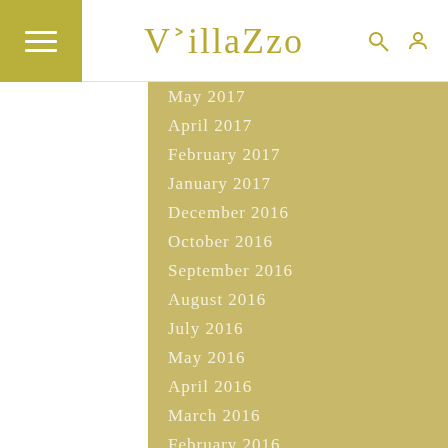VillaZzo
May 2017
April 2017
February 2017
January 2017
December 2016
October 2016
September 2016
August 2016
July 2016
May 2016
April 2016
March 2016
February 2016
January 2016